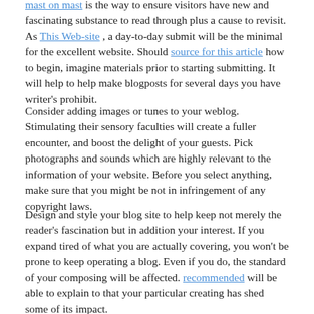ensure visitors have new and fascinating substance to read through plus a cause to revisit. As This Web-site , a day-to-day submit will be the minimal for the excellent website. Should source for this article how to begin, imagine materials prior to starting submitting. It will help to help make blogposts for several days you have writer's prohibit.
Consider adding images or tunes to your weblog. Stimulating their sensory faculties will create a fuller encounter, and boost the delight of your guests. Pick photographs and sounds which are highly relevant to the information of your website. Before you select anything, make sure that you might be not in infringement of any copyright laws.
Design and style your blog site to help keep not merely the reader's fascination but in addition your interest. If you expand tired of what you are actually covering, you won't be prone to keep operating a blog. Even if you do, the standard of your composing will be affected. recommended will be able to explain to that your particular creating has shed some of its impact.